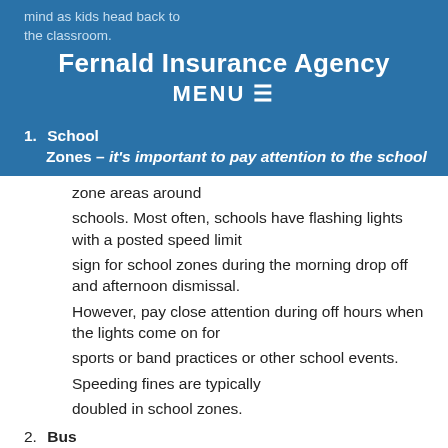mind as kids head back to the classroom.
Fernald Insurance Agency
MENU ☰
1. School Zones – it's important to pay attention to the school zone areas around schools. Most often, schools have flashing lights with a posted speed limit sign for school zones during the morning drop off and afternoon dismissal. However, pay close attention during off hours when the lights come on for sports or band practices or other school events. Speeding fines are typically doubled in school zones.
2. Bus